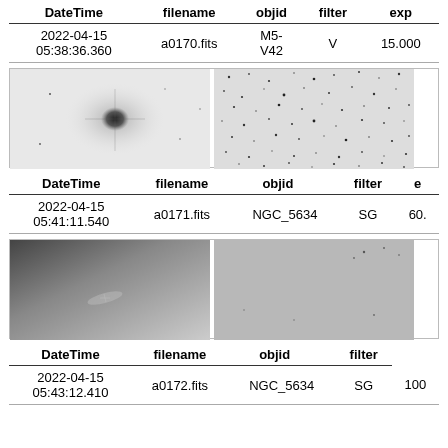| DateTime | filename | objid | filter | exp |
| --- | --- | --- | --- | --- |
| 2022-04-15
05:38:36.360 | a0170.fits | M5-V42 | V | 15.000 |
[Figure (photo): Two astronomical images: left shows a bright star/object with diffuse halo on light background; right shows a star field with many dark point sources on light background]
| DateTime | filename | objid | filter | e |
| --- | --- | --- | --- | --- |
| 2022-04-15
05:41:11.540 | a0171.fits | NGC_5634 | SG | 60. |
[Figure (photo): Two astronomical images: left shows a gradient image (dark top-left, bright bottom) with faint elongated object; right shows a mostly uniform gray field with a few faint point sources]
| DateTime | filename | objid | filter |
| --- | --- | --- | --- |
| 2022-04-15
05:43:12.410 | a0172.fits | NGC_5634 | SG | 100 |